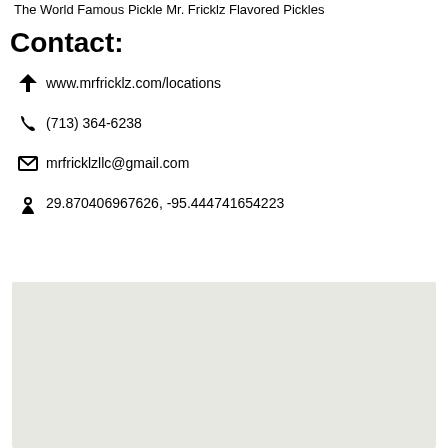The World Famous Pickle Mr. Fricklz Flavored Pickles
Contact:
www.mrfricklz.com/locations
(713) 364-6238
mrfricklzllc@gmail.com
29.870406967626, -95.444741654223
[Figure (map): A light gray map area showing a geographic location.]